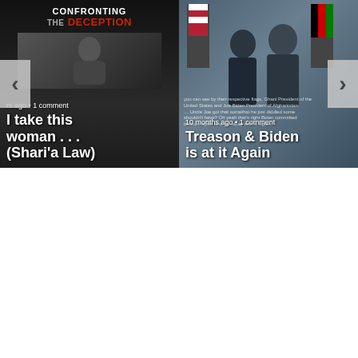[Figure (screenshot): Carousel UI showing two article cards side by side with navigation arrows. Left card: dark book cover 'Confronting the Deception' with text overlay '... rs ago • 1 comment' and headline 'I take this woman... (Shari'a Law)'. Right card: photo of two men standing with flags, timestamp '10 months ago • 1 comment', headline 'Treason & Biden is at it Again', with small text overlay about Biden and Afghanistan.]